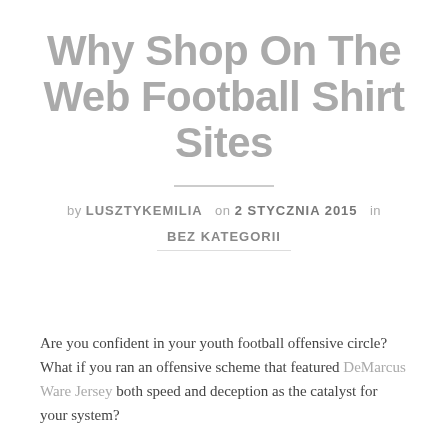Why Shop On The Web Football Shirt Sites
by LUSZTYKEMILIA on 2 STYCZNIA 2015 in
BEZ KATEGORII
Are you confident in your youth football offensive circle? What if you ran an offensive scheme that featured DeMarcus Ware Jersey both speed and deception as the catalyst for your system?